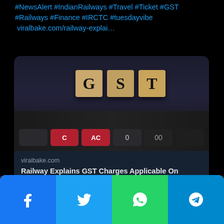#NewsAlert #IndianRailways #Travel #Ticket #GST #Railways #Finance #IRCTC #tuesdayvibe
viralbake.com/railway-explai…
[Figure (screenshot): Link preview card showing a photo of GST letter blocks on a calculator keyboard, with viralbake.com domain and headline 'Railway Explains GST Charges Applicable On Cancelling Confirmed …']
♡  ♡ 4
[Figure (infographic): Social share bar with four buttons: Facebook (blue), Twitter (light blue), WhatsApp (green), Telegram (blue)]